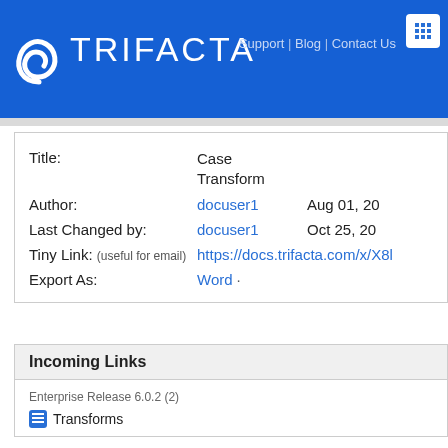TRIFACTA | Support | Blog | Contact Us
| Field | Value | Date |
| --- | --- | --- |
| Title: | Case Transform |  |
| Author: | docuser1 | Aug 01, 20 |
| Last Changed by: | docuser1 | Oct 25, 20 |
| Tiny Link: (useful for email) | https://docs.trifacta.com/x/X8l… |  |
| Export As: | Word · |  |
Incoming Links
Enterprise Release 6.0.2 (2)
Transforms